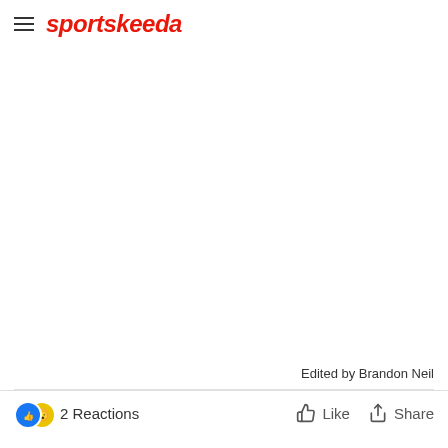sportskeeda
Edited by Brandon Neil
2 Reactions  Like  Share